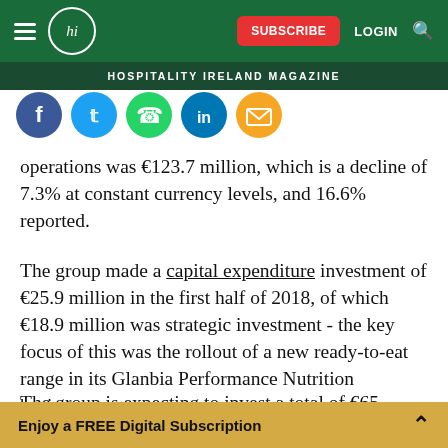HOSPITALITY IRELAND MAGAZINE
[Figure (other): Social media share icons: Facebook, Twitter, WhatsApp, LinkedIn, Email]
operations was €123.7 million, which is a decline of 7.3% at constant currency levels, and 16.6% reported.
The group made a capital expenditure investment of €25.9 million in the first half of 2018, of which €18.9 million was strategic investment - the key focus of this was the rollout of a new ready-to-eat range in its Glanbia Performance Nutrition business.
The group is expecting to invest a total of €65 million
Enjoy a FREE Digital Subscription